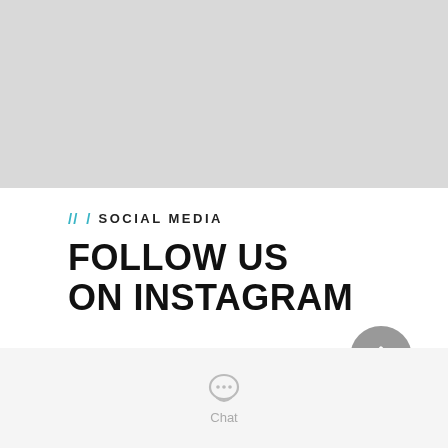[Figure (photo): Gray placeholder image rectangle at top of page]
/// SOCIAL MEDIA
FOLLOW US ON INSTAGRAM
[Figure (other): Gray circular scroll-to-top button with upward chevron arrow]
[Figure (other): Small circular loading spinner icon]
[Figure (other): Chat icon — speech bubble with dots — with label 'Chat']